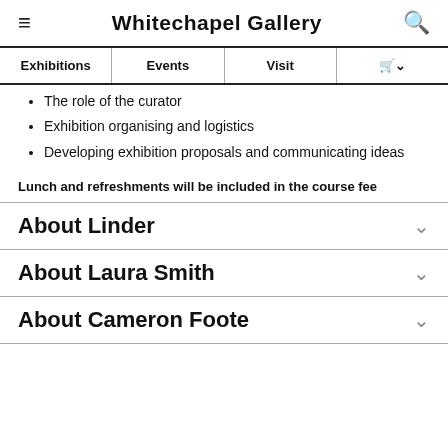Whitechapel Gallery
| Exhibitions | Events | Visit | 🛒 |
| --- | --- | --- | --- |
The role of the curator
Exhibition organising and logistics
Developing exhibition proposals and communicating ideas
Lunch and refreshments will be included in the course fee
About Linder
About Laura Smith
About Cameron Foote